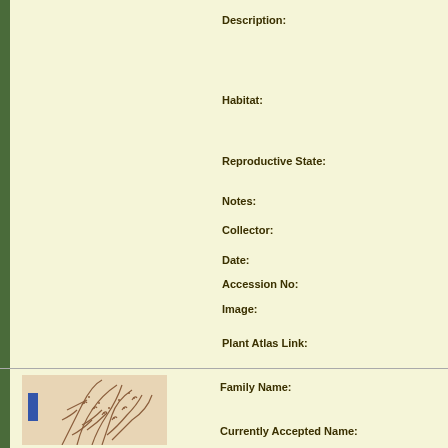Description:
Habitat:
Reproductive State:
Notes:
Collector:
Date:
Accession No:
Image:
Plant Atlas Link:
[Figure (photo): Herbarium specimen of a dried plant with branching stems and grain-like seed clusters, with a blue accession label on the left side.]
Family Name:
Currently Accepted Name: